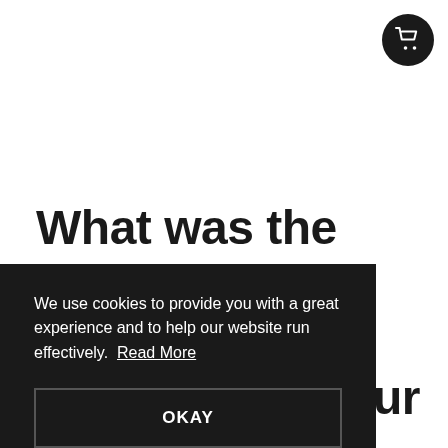[Figure (logo): Shopping cart icon in white on a black circular background, top-right corner]
What was the main thing that caused you to ... our
We use cookies to provide you with a great experience and to help our website run effectively. Read More
OKAY